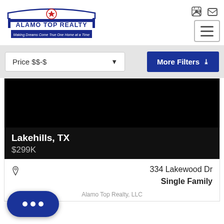[Figure (logo): Alamo Top Realty logo with tagline 'Making Dreams Come True One Home at a Time']
[Figure (screenshot): Header icons: login and email icons in top right]
Price $$-$
More Filters ▾
[Figure (photo): Property listing image (black/empty area)]
Lakehills, TX
$299K
334 Lakewood Dr
Single Family
Alamo Top Realty, LLC